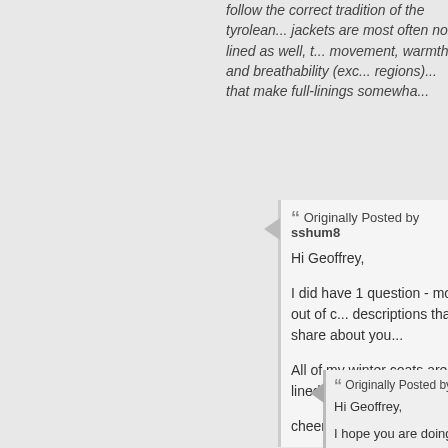follow the correct tradition of the tyrolean... jackets are most often not lined as well, t... movement, warmth and breathability (exc... regions)... that make full-linings somewha...
Originally Posted by sshum8
Hi Geoffrey,

I did have 1 question - more out of curiosity... descriptions that share about you...

All of my winter coats are lined -...

cheers, stewart
Originally Posted by s
Hi Geoffrey,

I hope you are doing well... happened to live in the sa...